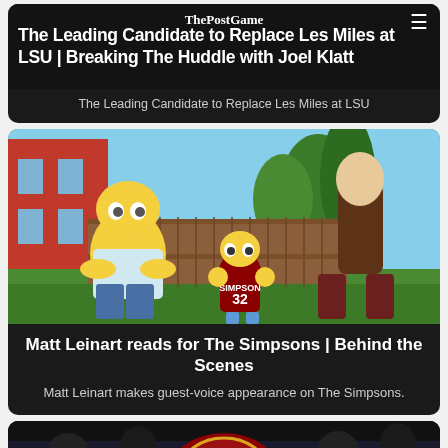ThePostGame
The Leading Candidate to Replace Les Miles at LSU | Breaking The Huddle with Joel Klatt
The Leading Candidate to Replace Les Miles at LSU
[Figure (photo): Simpsons animated scene showing Homer Simpson, Bart Simpson wearing jersey number 32, and a live-action style man in a brown t-shirt standing in a backyard with a wooden fence and trees]
Matt Leinart reads for The Simpsons | Behind the Scenes
Matt Leinart makes guest-voice appearance on The Simpsons.
[Figure (photo): Partial view of a football player wearing a helmet, bottom of page]